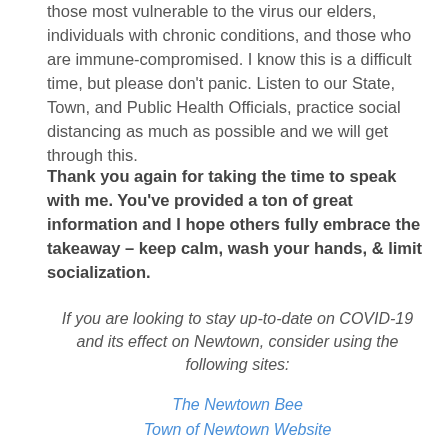those most vulnerable to the virus our elders, individuals with chronic conditions, and those who are immune-compromised. I know this is a difficult time, but please don't panic. Listen to our State, Town, and Public Health Officials, practice social distancing as much as possible and we will get through this.
Thank you again for taking the time to speak with me. You've provided a ton of great information and I hope others fully embrace the takeaway – keep calm, wash your hands, & limit socialization.
If you are looking to stay up-to-date on COVID-19 and its effect on Newtown, consider using the following sites:
The Newtown Bee
Town of Newtown Website